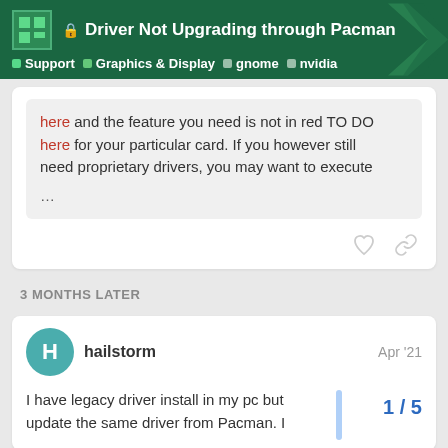Driver Not Upgrading through Pacman — Support > Graphics & Display > gnome > nvidia
here and the feature you need is not in red TO DO here for your particular card. If you however still need proprietary drivers, you may want to execute
...
3 MONTHS LATER
hailstorm — Apr '21
I have legacy driver install in my pc but update the same driver from Pacman. I
1 / 5